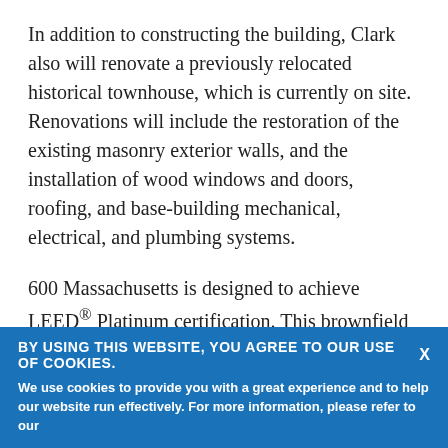In addition to constructing the building, Clark also will renovate a previously relocated historical townhouse, which is currently on site. Renovations will include the restoration of the existing masonry exterior walls, and the installation of wood windows and doors, roofing, and base-building mechanical, electrical, and plumbing systems.
600 Massachusetts is designed to achieve LEED® Platinum certification. This brownfield development will contain several sustainable elements, including two rainwater cisterns that will collect over 93,000 gallons of water for reuse. Clark also will utilize locally-sourced materials during construction and will…
BY USING THIS WEBSITE, YOU AGREE TO OUR USE OF COOKIES.
We use cookies to provide you with a great experience and to help our website run effectively. For more information, please refer to our